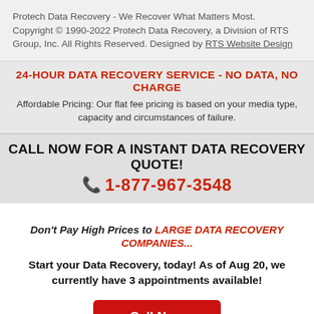Protech Data Recovery - We Recover What Matters Most. Copyright © 1990-2022 Protech Data Recovery, a Division of RTS Group, Inc. All Rights Reserved. Designed by RTS Website Design
24-HOUR DATA RECOVERY SERVICE - NO DATA, NO CHARGE
Affordable Pricing: Our flat fee pricing is based on your media type, capacity and circumstances of failure.
CALL NOW FOR A INSTANT DATA RECOVERY QUOTE!
1-877-967-3548
Don't Pay High Prices to LARGE DATA RECOVERY COMPANIES...
Start your Data Recovery, today! As of Aug 20, we currently have 3 appointments available!
Call Now